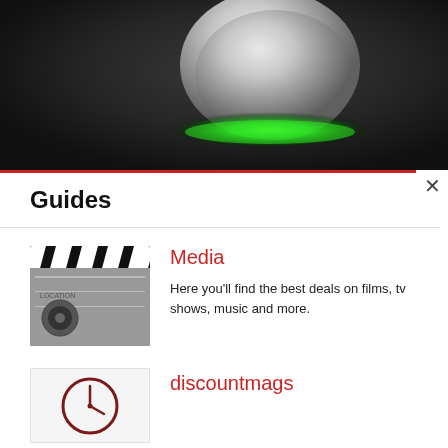[Figure (photo): Close-up photo of a white gaming mouse with green LED glow on a dark surface]
Guides
[Figure (photo): Thumbnail of a film clapperboard on a surface]
Media
Here you'll find the best deals on films, tv shows, music and more.
[Figure (illustration): Clock/time icon thumbnail for discountmags]
discountmags